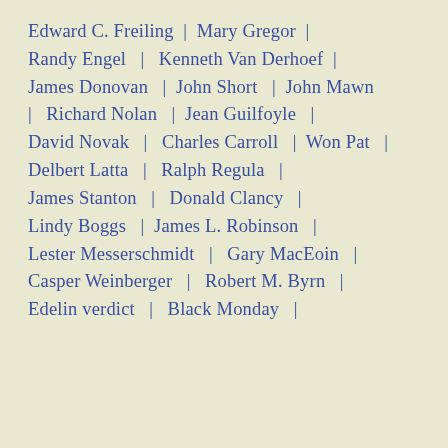Edward C. Freiling  |  Mary Gregor  |
Randy Engel  |  Kenneth Van Derhoef  |
James Donovan  |  John Short  |  John Mawn
|  Richard Nolan  |  Jean Guilfoyle  |
David Novak  |  Charles Carroll  |  Won Pat  |
Delbert Latta  |  Ralph Regula  |
James Stanton  |  Donald Clancy  |
Lindy Boggs  |  James L. Robinson  |
Lester Messerschmidt  |  Gary MacEoin  |
Casper Weinberger  |  Robert M. Byrn  |
Edelin verdict  |  Black Monday  |